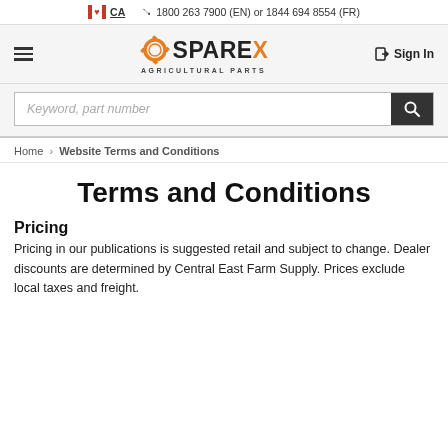CA  1800 263 7900 (EN) or 1844 694 8554 (FR)
[Figure (logo): Sparex Agricultural Parts logo with gear icon]
Sign In
Keyword, part number
Home > Website Terms and Conditions
Terms and Conditions
Pricing
Pricing in our publications is suggested retail and subject to change. Dealer discounts are determined by Central East Farm Supply. Prices exclude local taxes and freight.